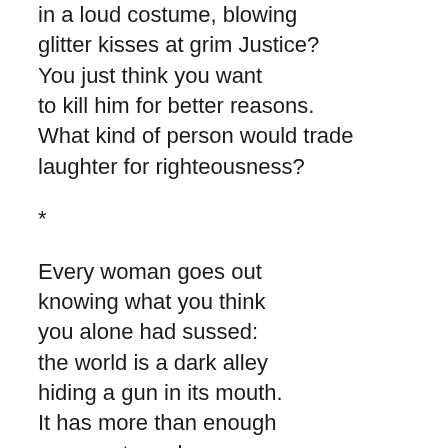in a loud costume, blowing
glitter kisses at grim Justice?
You just think you want
to kill him for better reasons.
What kind of person would trade
laughter for righteousness?

*

Every woman goes out
knowing what you think
you alone had sussed:
the world is a dark alley
hiding a gun in its mouth.
It has more than enough
reasons to make you
cover your face.
The moon waxes. The bruise